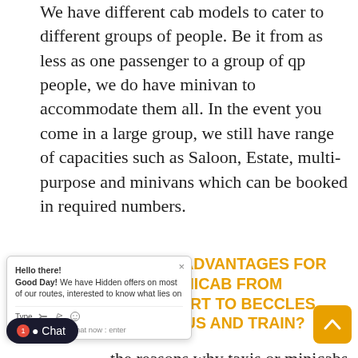We have different cab models to cater to different groups of people. Be it from as less as one passenger to a group of qp people, we do have minivan to accommodate them all. In the event you come in a large group, we still have range of capacities such as Saloon, Estate, multi-purpose and minivans which can be booked in required numbers.
ARE THE ADVANTAGES FOR G TAXI/MINICAB FROM ICK AIRPORT TO BECCLES ARE TO BUS AND TRAIN?
the reasons why taxis or minicabs are opted to travel from Gatwick Airport to Beccles is the customized services. Unlike public transport, they do not